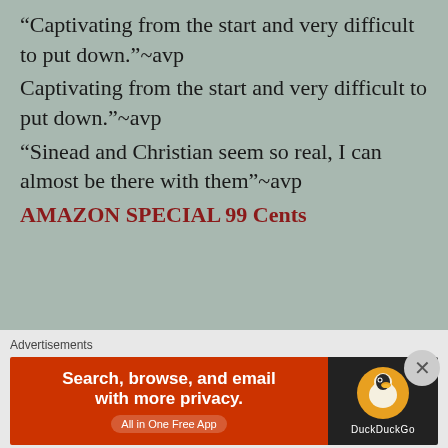“Captivating from the start and very difficult to put down.”~avp
Captivating from the start and very difficult to put down.”~avp
“Sinead and Christian seem so real, I can almost be there with them”~avp
AMAZON SPECIAL 99 Cents
Advertisements
[Figure (screenshot): DuckDuckGo advertisement banner: orange/red left side with text 'Search, browse, and email with more privacy. All in One Free App' and dark right side with DuckDuckGo duck logo]